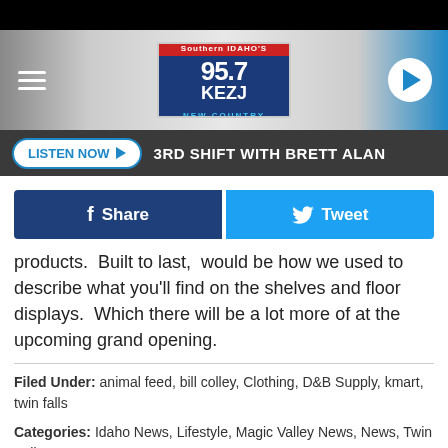[Figure (screenshot): 95.7 KEZJ Southern Idaho New Country radio station website header with logo, hamburger menu, and play button]
LISTEN NOW ▶  3RD SHIFT WITH BRETT ALAN
[Figure (other): Facebook Share button and Twitter Tweet button row]
products.  Built to last, would be how we used to describe what you'll find on the shelves and floor displays.  Which there will be a lot more of at the upcoming grand opening.
Filed Under: animal feed, bill colley, Clothing, D&B Supply, kmart, twin falls
Categories: Idaho News, Lifestyle, Magic Valley News, News, Twin Falls News
[Figure (other): Green Auto Group advertisement banner with Visit Us button]